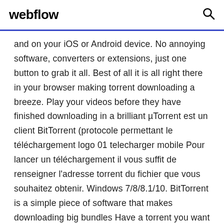webflow
and on your iOS or Android device. No annoying software, converters or extensions, just one button to grab it all. Best of all it is all right there in your browser making torrent downloading a breeze. Play your videos before they have finished downloading in a brilliant µTorrent est un client BitTorrent (protocole permettant le téléchargement logo 01 telecharger mobile Pour lancer un téléchargement il vous suffit de renseigner l'adresse torrent du fichier que vous souhaitez obtenir. Windows 7/8/8.1/10. BitTorrent is a simple piece of software that makes downloading big bundles Have a torrent you want to download, but you're away from your